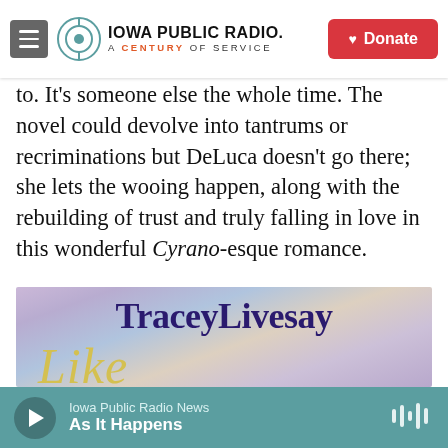Iowa Public Radio. A Century of Service. Donate
to. It's someone else the whole time. The novel could devolve into tantrums or recriminations but DeLuca doesn't go there; she lets the wooing happen, along with the rebuilding of trust and truly falling in love in this wonderful Cyrano-esque romance.
[Figure (photo): Book cover showing author name 'Tracey Livesay' in large dark purple serif font on a pastel purple and blue sky background, with partial italic yellow cursive title beginning with 'Like']
Iowa Public Radio News — As It Happens (audio player bar)